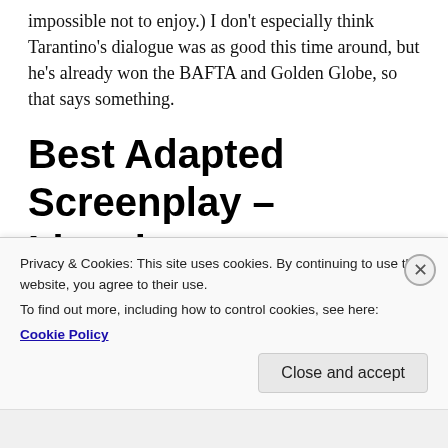impossible not to enjoy.) I don't especially think Tarantino's dialogue was as good this time around, but he's already won the BAFTA and Golden Globe, so that says something.
Best Adapted Screenplay – Lincoln
Tony Kushner is a brilliant playwright, and though I admittedly dozed off through much of Lincoln, it's hard to argue against his balance of history with
Privacy & Cookies: This site uses cookies. By continuing to use this website, you agree to their use.
To find out more, including how to control cookies, see here:
Cookie Policy
Close and accept